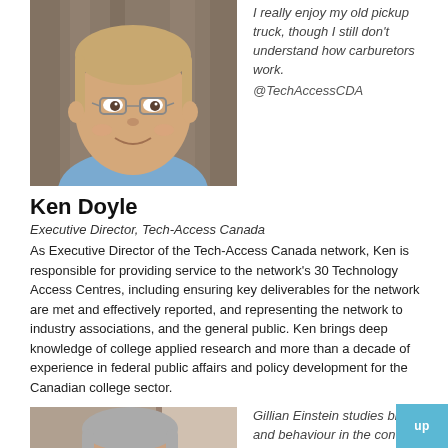[Figure (photo): Headshot of Ken Doyle, a man with glasses wearing a light blue shirt, smiling, with a wooden background]
I really enjoy my old pickup truck, though I still don't understand how carburetors work. @TechAccessCDA
Ken Doyle
Executive Director, Tech-Access Canada
As Executive Director of the Tech-Access Canada network, Ken is responsible for providing service to the network's 30 Technology Access Centres, including ensuring key deliverables for the network are met and effectively reported, and representing the network to industry associations, and the general public. Ken brings deep knowledge of college applied research and more than a decade of experience in federal public affairs and policy development for the Canadian college sector.
[Figure (photo): Headshot of Gillian Einstein, an older woman with long grey hair, smiling, with a light background]
Gillian Einstein studies brain and behaviour in the context of other body systems and in the context of people's lives in